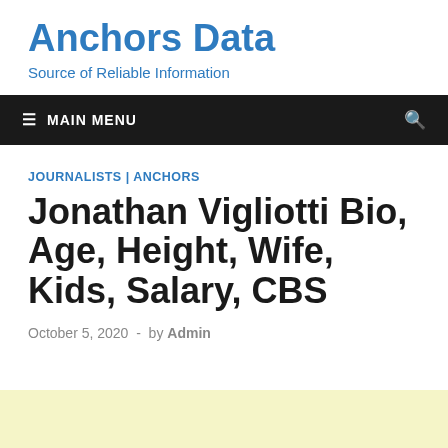Anchors Data
Source of Reliable Information
≡ MAIN MENU
JOURNALISTS | ANCHORS
Jonathan Vigliotti Bio, Age, Height, Wife, Kids, Salary, CBS
October 5, 2020  -  by Admin